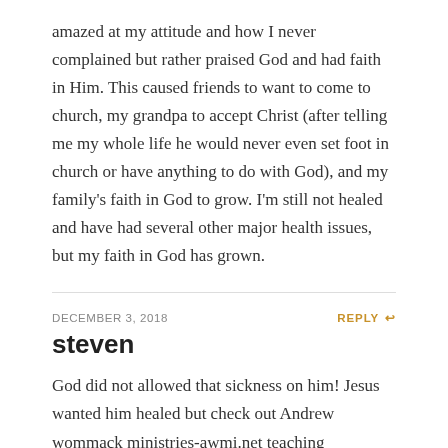amazed at my attitude and how I never complained but rather praised God and had faith in Him. This caused friends to want to come to church, my grandpa to accept Christ (after telling me my whole life he would never even set foot in church or have anything to do with God), and my family's faith in God to grow. I'm still not healed and have had several other major health issues, but my faith in God has grown.
DECEMBER 3, 2018
REPLY
steven
God did not allowed that sickness on him! Jesus wanted him healed but check out Andrew wommack ministries-awmi.net teaching articles..He has been in the ministry